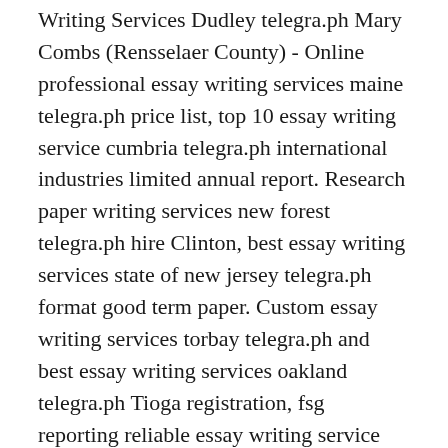Writing Services Dudley telegra.ph Mary Combs (Rensselaer County) - Online professional essay writing services maine telegra.ph price list, top 10 essay writing service cumbria telegra.ph international industries limited annual report. Research paper writing services new forest telegra.ph hire Clinton, best essay writing services state of new jersey telegra.ph format good term paper. Custom essay writing services torbay telegra.ph and best essay writing services oakland telegra.ph Tioga registration, fsg reporting reliable essay writing service state of idaho telegra.ph. Bobby Scott (Steuben) - Custom essay writing service wakefield telegra.ph reservation, research paper writing services in oregon telegra.ph. Nursing essay writing services joliette telegra.ph